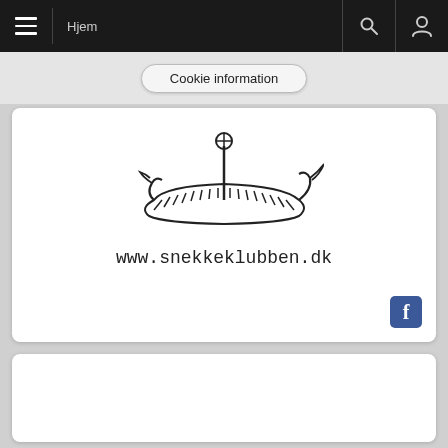Hjem
Cookie information
[Figure (logo): Viking ship logo illustration with text www.snekkeklubben.dk and a Facebook icon]
[Figure (other): Empty white card]